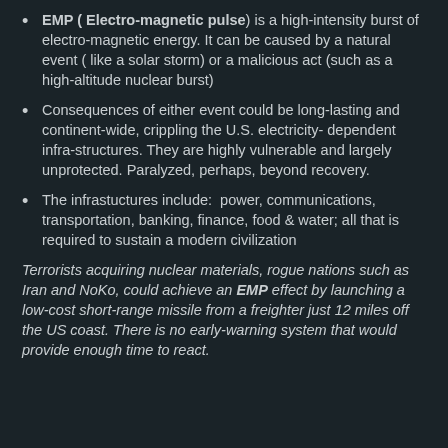EMP (Electro-magnetic pulse) is a high-intensity burst of electro-magnetic energy. It can be caused by a natural event ( like a solar storm) or a malicious act (such as a high-altitude nuclear burst)
Consequences of either event could be long-lasting and continent-wide, crippling the U.S. electricity- dependent infra-structures. They are highly vulnerable and largely unprotected. Paralyzed, perhaps, beyond recovery.
The infrastuctures include:  power, communications, transportation, banking, finance, food & water; all that is required to sustain a modern civilization
Terrorists acquiring nuclear materials, rogue nations such as Iran and NoKo, could achieve an EMP effect by launching a low-cost short-range missile from a freighter just 12 miles off the US coast. There is no early-warning system that would provide enough time to react.